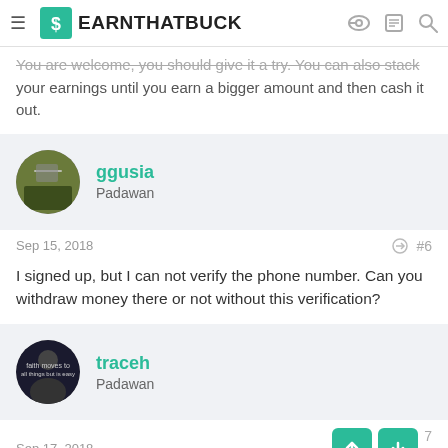EARNTHATBUCK
You are welcome, you should give it a try. You can also stack your earnings until you earn a bigger amount and then cash it out.
ggusia
Padawan
Sep 15, 2018  #6
I signed up, but I can not verify the phone number. Can you withdraw money there or not without this verification?
traceh
Padawan
Sep 17, 2018
Thank you, I have never heard of it so I have followed your link